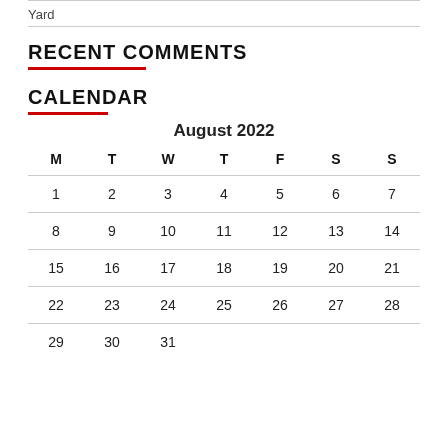Yard
RECENT COMMENTS
CALENDAR
| M | T | W | T | F | S | S |
| --- | --- | --- | --- | --- | --- | --- |
| 1 | 2 | 3 | 4 | 5 | 6 | 7 |
| 8 | 9 | 10 | 11 | 12 | 13 | 14 |
| 15 | 16 | 17 | 18 | 19 | 20 | 21 |
| 22 | 23 | 24 | 25 | 26 | 27 | 28 |
| 29 | 30 | 31 |  |  |  |  |